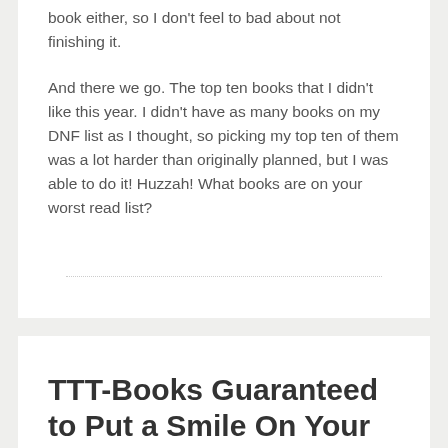book either, so I don't feel to bad about not finishing it.
And there we go. The top ten books that I didn't like this year. I didn't have as many books on my DNF list as I thought, so picking my top ten of them was a lot harder than originally planned, but I was able to do it! Huzzah! What books are on your worst read list?
TTT-Books Guaranteed to Put a Smile On Your Face